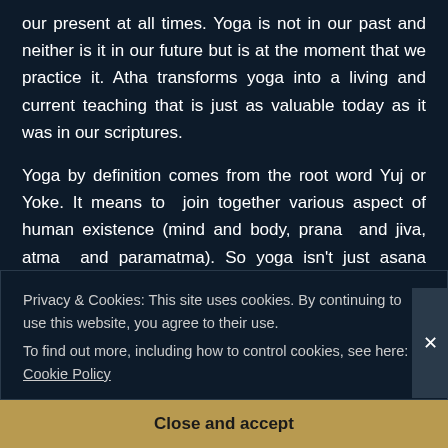our present at all times. Yoga is not in our past and neither is it in our future but is at the moment that we practice it. Atha transforms yoga into a living and current teaching that is just as valuable today as it was in our scriptures.
Yoga by definition comes from the root word Yuj or Yoke. It means to join together various aspect of human existence (mind and body, prana and jiva, atma and paramatma). So yoga isn't just asana practice. In fact, Patanjali lists 8 branches or Ashta-anga to the practice of yoga. Yama, Niyama, Asana, Pranayama,
Privacy & Cookies: This site uses cookies. By continuing to use this website, you agree to their use.
To find out more, including how to control cookies, see here: Cookie Policy
Close and accept